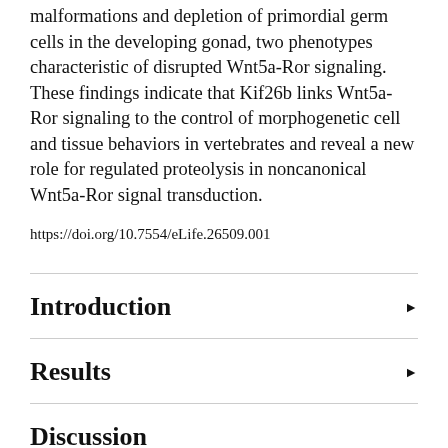malformations and depletion of primordial germ cells in the developing gonad, two phenotypes characteristic of disrupted Wnt5a-Ror signaling. These findings indicate that Kif26b links Wnt5a-Ror signaling to the control of morphogenetic cell and tissue behaviors in vertebrates and reveal a new role for regulated proteolysis in noncanonical Wnt5a-Ror signal transduction.
https://doi.org/10.7554/eLife.26509.001
Introduction
Results
Discussion